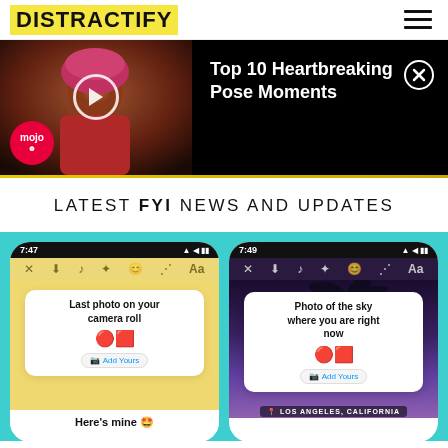DISTRACTIFY
[Figure (screenshot): Video thumbnail showing a woman in a pink headwrap with WatchMojo logo, alongside black panel with title 'Top 10 Heartbreaking Pose Moments' and close button]
LATEST FYI NEWS AND UPDATES
[Figure (screenshot): Two phone screenshots showing Instagram 'Add Yours' story stickers. Left phone (7:47) shows yellow background with 'Last photo on your camera roll' prompt. Right phone (7:49) shows dark sky with palm tree background and 'Photo of the sky where you are right now' prompt with LOS ANGELES, CALIFORNIA location tag. Bottom text: Here's mine with emoji.]